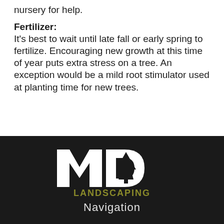nursery for help.
Fertilizer:
It's best to wait until late fall or early spring to fertilize. Encouraging new growth at this time of year puts extra stress on a tree. An exception would be a mild root stimulator used at planting time for new trees.
[Figure (logo): MD Landscaping logo with large white bold 'MD' letters and a dark tree icon, with 'LANDSCAPING' in olive/yellow text below]
Navigation